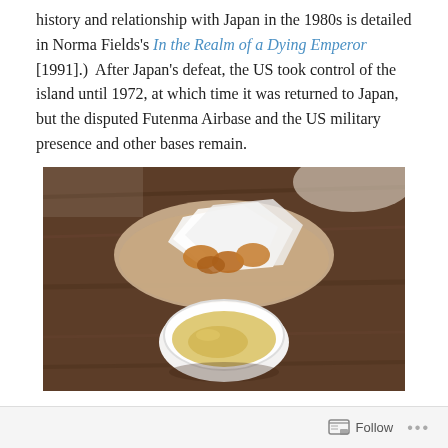history and relationship with Japan in the 1980s is detailed in Norma Fields's In the Realm of a Dying Emperor [1991].)  After Japan's defeat, the US took control of the island until 1972, at which time it was returned to Japan, but the disputed Futenma Airbase and the US military presence and other bases remain.
[Figure (photo): Photo of a basket/plate with fried food wrapped in white paper napkins, and a white bowl of yellow soup or broth, placed on a dark wooden table.]
Follow ···